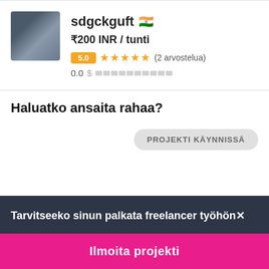[Figure (photo): Profile avatar photo of user sdgckguft, small square image with blurred dark/blue tones]
sdgckguft 🇮🇳
₹200 INR / tunti
5.0 ★★★★★ (2 arvostelua)
0.0 $ ██████████
Haluatko ansaita rahaa?
PROJEKTI KÄYNNISSÄ
Tarvitseeko sinun palkata freelancer työhön✕
Ilmoita projekti